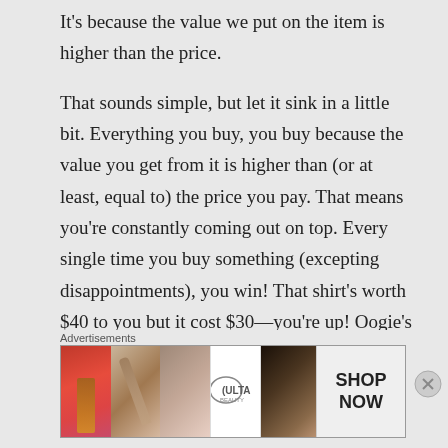It's because the value we put on the item is higher than the price.

That sounds simple, but let it sink in a little bit. Everything you buy, you buy because the value you get from it is higher than (or at least, equal to) the price you pay. That means you're constantly coming out on top. Every single time you buy something (excepting disappointments), you win! That shirt's worth $40 to you but it cost $30—you're up! Oogie's worth $80
Advertisements
[Figure (photo): Ulta Beauty advertisement banner showing close-up beauty/makeup images including lips, makeup brush, eye, Ulta logo, and eye makeup, with 'SHOP NOW' call to action]